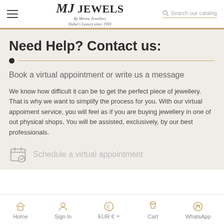MJ Jewels — By Meena Jewellers — Dubai's Luxury since 1993
Need Help? Contact us:
Book a virtual appointment or write us a message
We know how difficult it can be to get the perfect piece of jewellery. That is why we want to simplify the process for you. With our virtual appoiment service, you will feel as if you are buying jewellery in one of out physical shops. You will be assisted, exclusively, by our best professionals.
Schedule a virtual appointment
Home  Sign In  EUR €  Cart  WhatsApp